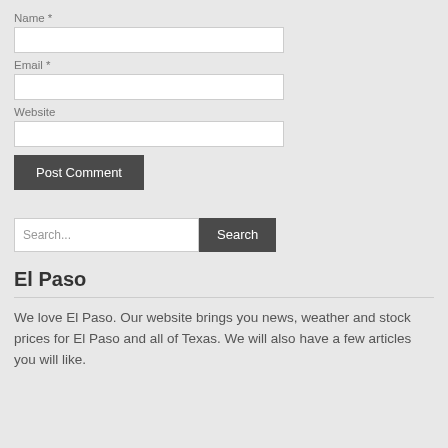Name *
Email *
Website
Post Comment
Search...
El Paso
We love El Paso. Our website brings you news, weather and stock prices for El Paso and all of Texas. We will also have a few articles you will like.